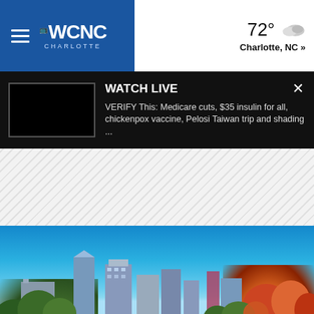WCNC Charlotte - 72° Charlotte, NC »
WATCH LIVE
VERIFY This: Medicare cuts, $35 insulin for all, chickenpox vaccine, Pelosi Taiwan trip and shading ...
[Figure (photo): Charlotte, NC city skyline with fall foliage trees in foreground and blue sky background]